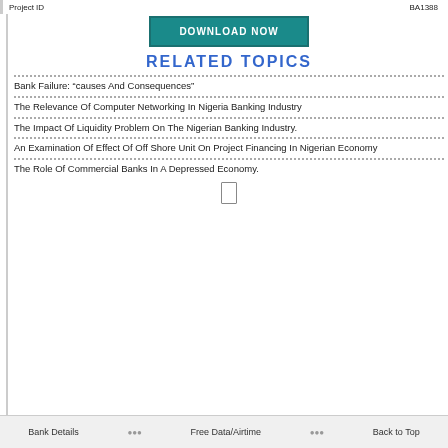Project ID    BA1388
[Figure (other): DOWNLOAD NOW button in teal/dark cyan color]
RELATED TOPICS
Bank Failure: “causes And Consequences”
The Relevance Of Computer Networking In Nigeria Banking Industry
The Impact Of Liquidity Problem On The Nigerian Banking Industry.
An Examination Of Effect Of Off Shore Unit On Project Financing In Nigerian Economy
The Role Of Commercial Banks In A Depressed Economy.
Bank Details    Free Data/Airtime    Back to Top